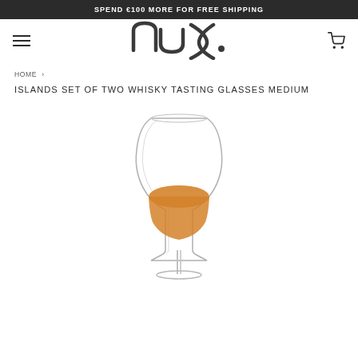SPEND €100 MORE FOR FREE SHIPPING
[Figure (logo): NUDE glassware brand logo in dark grey, stylized text forming arc shapes]
HOME ›
ISLANDS SET OF TWO WHISKY TASTING GLASSES MEDIUM
[Figure (photo): A single clear crystal whisky tasting glass with a tulip/copita shape containing golden amber whisky, on a long thin stem, white background]